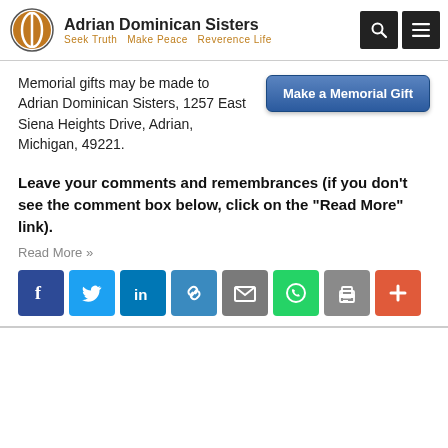Adrian Dominican Sisters — Seek Truth  Make Peace  Reverence Life
Memorial gifts may be made to Adrian Dominican Sisters, 1257 East Siena Heights Drive, Adrian, Michigan, 49221.
Leave your comments and remembrances (if you don't see the comment box below, click on the "Read More" link).
Read More »
[Figure (infographic): Row of 8 social sharing buttons: Facebook (dark blue), Twitter (light blue), LinkedIn (blue), Link/copy (medium blue), Email (grey), WhatsApp (green), Print (grey), Add/More (orange-red)]